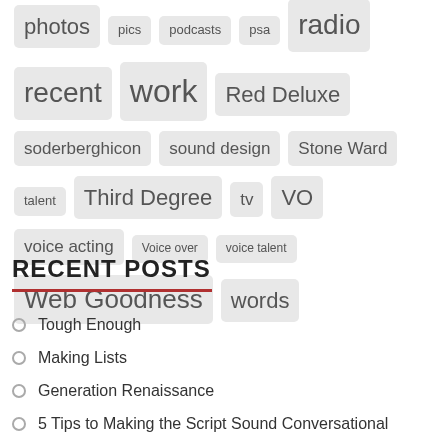[Figure (other): Tag cloud with various tags of different sizes: photos, pics, podcasts, psa, radio, recent, work, Red Deluxe, soderberghicon, sound design, Stone Ward, talent, Third Degree, tv, VO, voice acting, Voice over, voice talent, Web Goodness, words]
RECENT POSTS
Tough Enough
Making Lists
Generation Renaissance
5 Tips to Making the Script Sound Conversational
Help A Hero